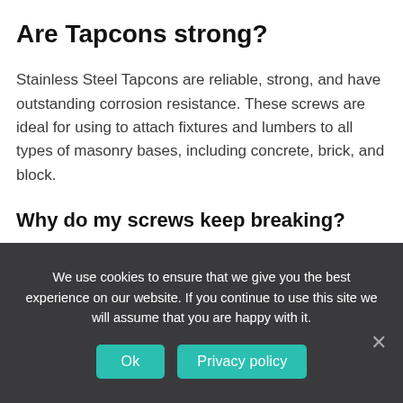Are Tapcons strong?
Stainless Steel Tapcons are reliable, strong, and have outstanding corrosion resistance. These screws are ideal for using to attach fixtures and lumbers to all types of masonry bases, including concrete, brick, and block.
Why do my screws keep breaking?
Without a pilot hole, the screw is essentially wedging itself into the
We use cookies to ensure that we give you the best experience on our website. If you continue to use this site we will assume that you are happy with it.